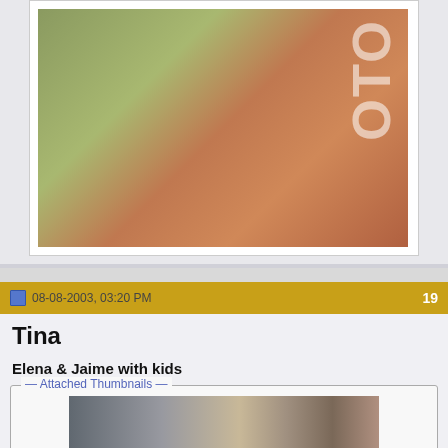[Figure (photo): Photo of a woman in an orange/salmon tweed coat holding a small child, with a watermark 'OTO' visible on the right side in large white letters]
08-08-2003, 03:20 PM
19
Tina
Elena & Jaime with kids
Attached Thumbnails
[Figure (photo): Thumbnail photo showing Elena and Jaime with kids walking outdoors near a stone building with black lamp posts]